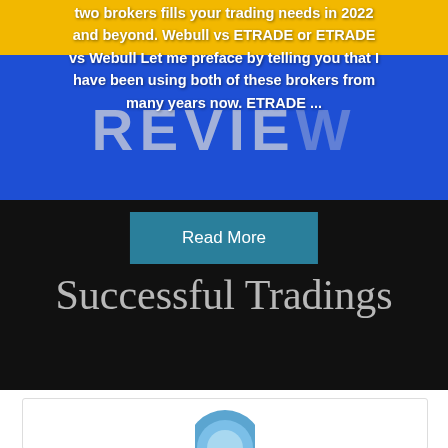[Figure (photo): Composite image: top portion shows a blue 'REVIEW' sign with yellow bar at top and white overlaid text about Webull vs ETRADE broker comparison. Bottom portion is a dark background with white cursive script reading 'Successful Tradings'. A teal 'Read More' button overlays the center.]
two brokers fills your trading needs in 2022 and beyond. Webull vs ETRADE or ETRADE vs Webull Let me preface by telling you that I have been using both of these brokers from many years now. ETRADE ...
[Figure (photo): Partial view of a circular logo or icon at the bottom of the page, cut off. Appears to be a blue and white emblem.]